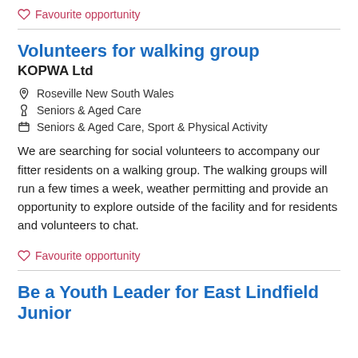♡ Favourite opportunity
Volunteers for walking group
KOPWA Ltd
📍 Roseville New South Wales
✖ Seniors & Aged Care
🗂 Seniors & Aged Care, Sport & Physical Activity
We are searching for social volunteers to accompany our fitter residents on a walking group. The walking groups will run a few times a week, weather permitting and provide an opportunity to explore outside of the facility and for residents and volunteers to chat.
♡ Favourite opportunity
Be a Youth Leader for East Lindfield Junior Cricket